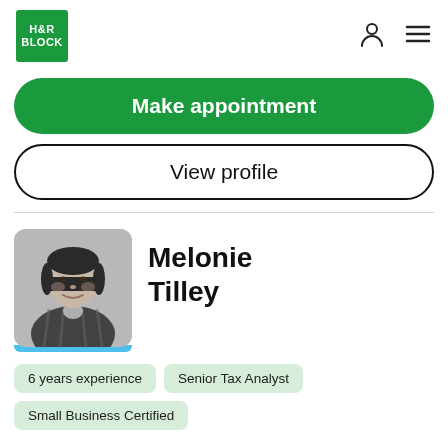H&R BLOCK
Make appointment
View profile
Melonie Tilley
[Figure (photo): Grayscale headshot of Melonie Tilley, a woman with dark hair, smiling, wearing a plaid shirt. Photo has a light blue bar at the bottom.]
6 years experience
Senior Tax Analyst
Small Business Certified